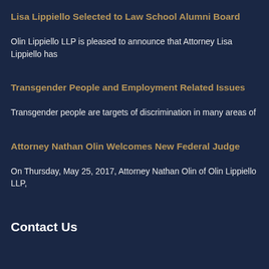Lisa Lippiello Selected to Law School Alumni Board
Olin Lippiello LLP is pleased to announce that Attorney Lisa Lippiello has
Transgender People and Employment Related Issues
Transgender people are targets of discrimination in many areas of
Attorney Nathan Olin Welcomes New Federal Judge
On Thursday, May 25, 2017, Attorney Nathan Olin of Olin Lippiello LLP,
Contact Us